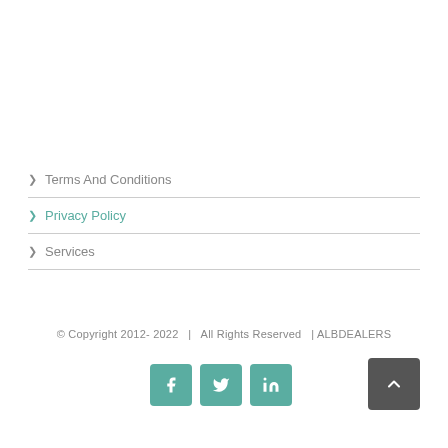> Terms And Conditions
> Privacy Policy
> Services
© Copyright 2012- 2022   |   All Rights Reserved   | ALBDEALERS
[Figure (other): Three social media icon buttons (Facebook, Twitter, LinkedIn) in teal/green color, plus a dark grey scroll-to-top button with upward chevron arrow]